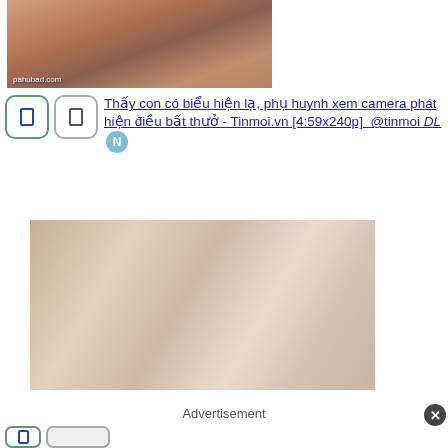[Figure (photo): A photo thumbnail with watermark text 'pahubad.com' in lower left corner]
Thấy con có biểu hiện lạ, phụ huynh xem camera phát hiện điều bất thưở - Tinmoi.vn [4:59x240p]  @tinmoi DL
[Figure (photo): A close-up photo showing hands]
Advertisement